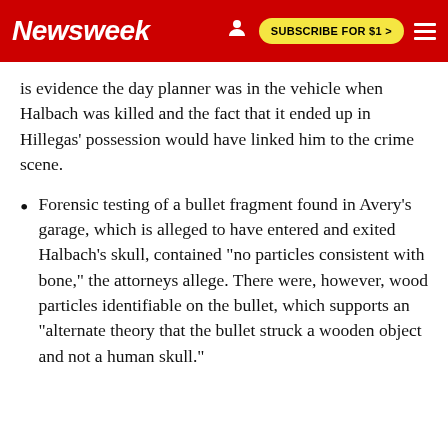Newsweek | SUBSCRIBE FOR $1 >
is evidence the day planner was in the vehicle when Halbach was killed and the fact that it ended up in Hillegas' possession would have linked him to the crime scene.
Forensic testing of a bullet fragment found in Avery's garage, which is alleged to have entered and exited Halbach's skull, contained "no particles consistent with bone," the attorneys allege. There were, however, wood particles identifiable on the bullet, which supports an "alternate theory that the bullet struck a wooden object and not a human skull."